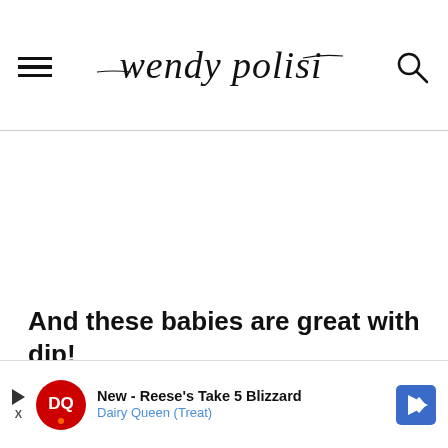wendy polisi
And these babies are great with dip!
[Figure (photo): Close-up food photograph showing items great with dip]
[Figure (infographic): Advertisement: New - Reese's Take 5 Blizzard, Dairy Queen (Treat)]